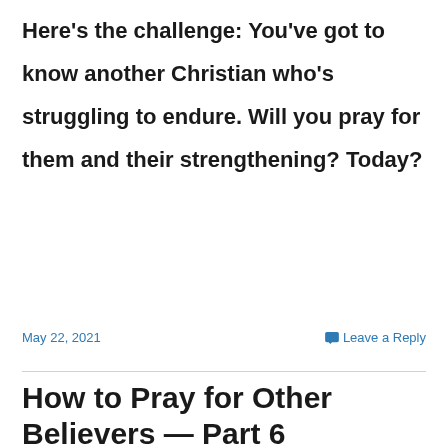Here’s the challenge: You’ve got to know another Christian who’s struggling to endure. Will you pray for them and their strengthening? Today?
May 22, 2021
Leave a Reply
How to Pray for Other Believers — Part 6